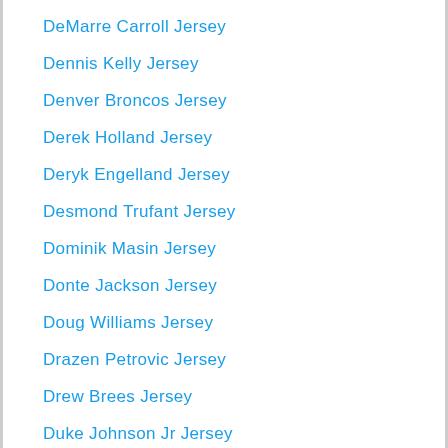DeMarre Carroll Jersey
Dennis Kelly Jersey
Denver Broncos Jersey
Derek Holland Jersey
Deryk Engelland Jersey
Desmond Trufant Jersey
Dominik Masin Jersey
Donte Jackson Jersey
Doug Williams Jersey
Drazen Petrovic Jersey
Drew Brees Jersey
Duke Johnson Jr Jersey